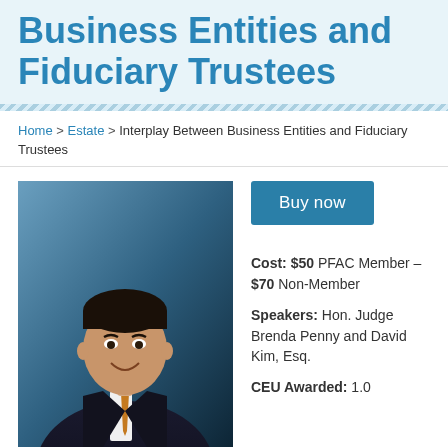Business Entities and Fiduciary Trustees
Home > Estate > Interplay Between Business Entities and Fiduciary Trustees
[Figure (photo): Professional headshot of a man in a dark suit with an orange tie, smiling, against a blue background]
Buy now
Cost: $50 PFAC Member – $70 Non-Member
Speakers: Hon. Judge Brenda Penny and David Kim, Esq.
CEU Awarded: 1.0